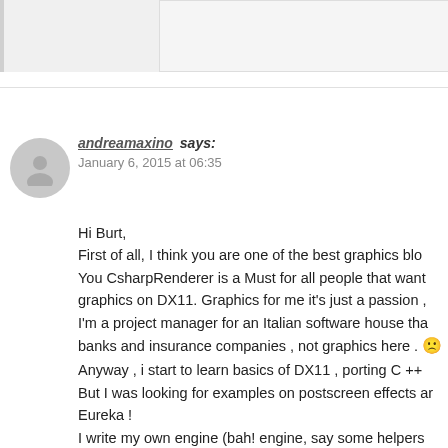andreamaxino says:
January 6, 2015 at 06:35
Hi Burt,
First of all, I think you are one of the best graphics blo
You CsharpRenderer is a Must for all people that want
graphics on DX11. Graphics for me it's just a passion ,
I'm a project manager for an Italian software house tha
banks and insurance companies , not graphics here . 🙁
Anyway , i start to learn basics of DX11 , porting C ++
But I was looking for examples on postscreen effects ar
Eureka !
I write my own engine (bah! engine, say some helpers
graphics stuff for hobby some of this are on youtube if
andrea.maxino channel.
Now I'm studing your Screen space shadow and Screer